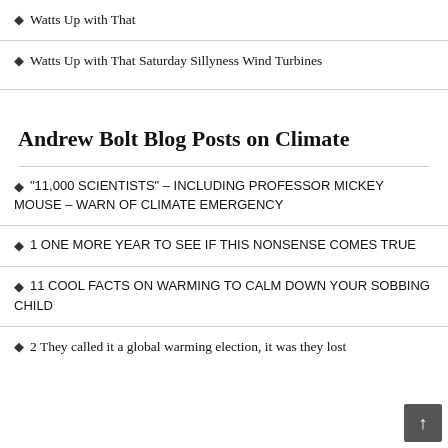Watts Up with That
Watts Up with That Saturday Sillyness Wind Turbines
Andrew Bolt Blog Posts on Climate
"11,000 SCIENTISTS" – INCLUDING PROFESSOR MICKEY MOUSE – WARN OF CLIMATE EMERGENCY
1 ONE MORE YEAR TO SEE IF THIS NONSENSE COMES TRUE
11 COOL FACTS ON WARMING TO CALM DOWN YOUR SOBBING CHILD
2 They called it a global warming election, it was they lost